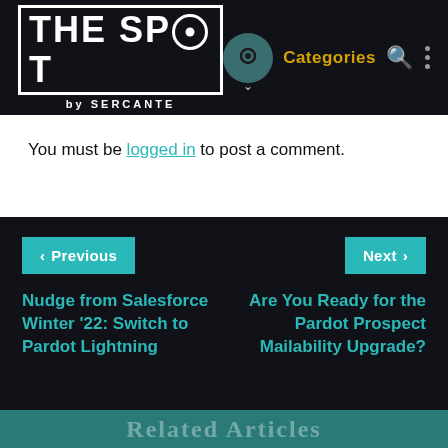THE SPOT by SERCANTE — Categories
You must be logged in to post a comment.
< Previous
Next >
Nudge from Salesforce Winter '22: Switch to Pardot Lightning
Are You Ready for the Pardot Prospect Mailability Upgrade?
Related Articles